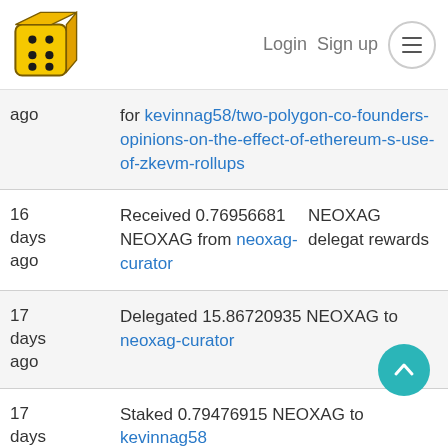Login  Sign up  ☰
ago  for kevinnag58/two-polygon-co-founders-opinions-on-the-effect-of-ethereum-s-use-of-zkevm-rollups
16 days ago  Received 0.76956681 NEOXAG from neoxag-curator  NEOXAG delegat rewards
17 days ago  Delegated 15.86720935 NEOXAG to neoxag-curator
17 days  Staked 0.79476915 NEOXAG to kevinnag58